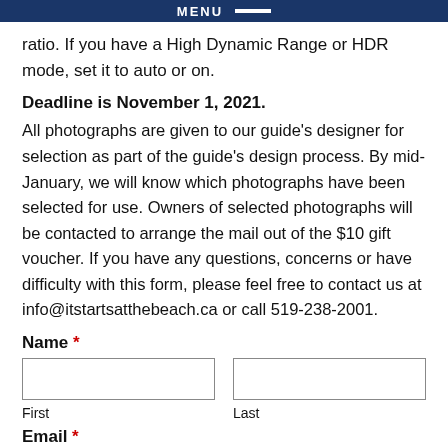MENU
ratio. If you have a High Dynamic Range or HDR mode, set it to auto or on.
Deadline is November 1, 2021.
All photographs are given to our guide's designer for selection as part of the guide's design process. By mid-January, we will know which photographs have been selected for use. Owners of selected photographs will be contacted to arrange the mail out of the $10 gift voucher. If you have any questions, concerns or have difficulty with this form, please feel free to contact us at info@itstartsatthebeach.ca or call 519-238-2001.
Name *
First
Last
Email *